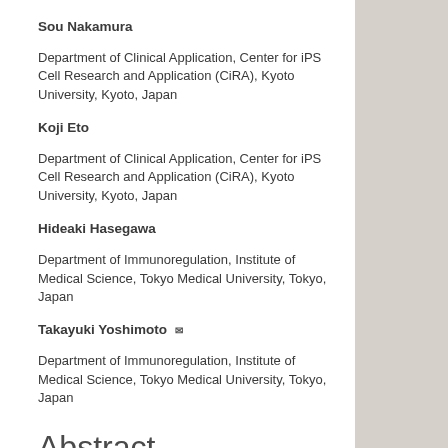Sou Nakamura
Department of Clinical Application, Center for iPS Cell Research and Application (CiRA), Kyoto University, Kyoto, Japan
Koji Eto
Department of Clinical Application, Center for iPS Cell Research and Application (CiRA), Kyoto University, Kyoto, Japan
Hideaki Hasegawa
Department of Immunoregulation, Institute of Medical Science, Tokyo Medical University, Tokyo, Japan
Takayuki Yoshimoto
Department of Immunoregulation, Institute of Medical Science, Tokyo Medical University, Tokyo, Japan
Abstract
Although several in vitro assays that predict the sensitization risk of chemical allergens